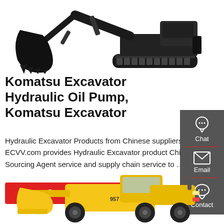[Figure (photo): Komatsu excavator with large bucket and tracks, top portion visible on white background]
Komatsu Excavator Hydraulic Oil Pump, Komatsu Excavator
Hydraulic Excavator Products from Chinese suppliers. ECVV.com provides Hydraulic Excavator product China Sourcing Agent service and supply chain service to …
Get a quote
[Figure (infographic): Sidebar with Chat, Email, and Contact icons on dark gray background]
[Figure (photo): Yellow Komatsu wheel loader (model 957) on white background, partially visible at bottom]